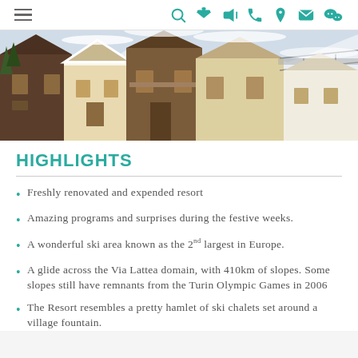Navigation header with hamburger menu and icons: search, announcement, phone, location, email, social
[Figure (photo): Exterior photo of Alpine ski chalets and resort buildings covered in snow, warm wooden and cream-colored facades]
HIGHLIGHTS
Freshly renovated and expended resort
Amazing programs and surprises during the festive weeks.
A wonderful ski area known as the 2nd largest in Europe.
A glide across the Via Lattea domain, with 410km of slopes. Some slopes still have remnants from the Turin Olympic Games in 2006
The Resort resembles a pretty hamlet of ski chalets set around a village fountain.